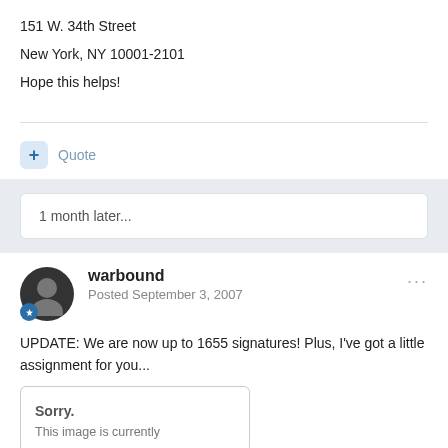151 W. 34th Street
New York, NY 10001-2101
Hope this helps!
Quote
1 month later...
warbound
Posted September 3, 2007
UPDATE: We are now up to 1655 signatures! Plus, I've got a little assignment for you...
[Figure (other): Broken image placeholder with text: Sorry. This image is currently unavailable.]